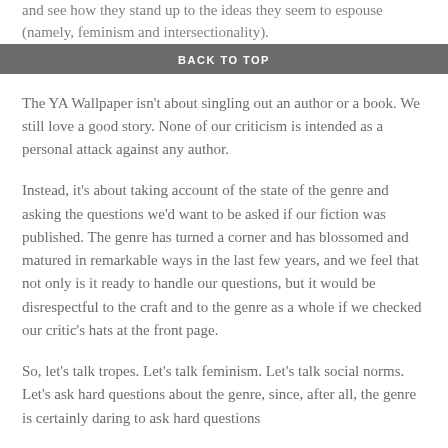and see how they stand up to the ideas they seem to espouse (namely, feminism and intersectionality).
BACK TO TOP
The YA Wallpaper isn't about singling out an author or a book. We still love a good story. None of our criticism is intended as a personal attack against any author.
Instead, it's about taking account of the state of the genre and asking the questions we'd want to be asked if our fiction was published. The genre has turned a corner and has blossomed and matured in remarkable ways in the last few years, and we feel that not only is it ready to handle our questions, but it would be disrespectful to the craft and to the genre as a whole if we checked our critic's hats at the front page.
So, let's talk tropes. Let's talk feminism. Let's talk social norms. Let's ask hard questions about the genre, since, after all, the genre is certainly daring to ask hard questions